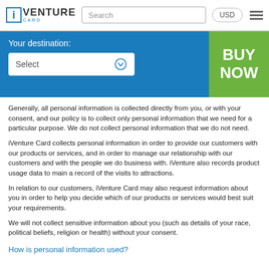[Figure (logo): iVenture Card logo with blue 'i' in a box, bold VENTURE text and CARD below]
Generally, all personal information is collected directly from you, or with your consent, and our policy is to collect only personal information that we need for a particular purpose. We do not collect personal information that we do not need.
iVenture Card collects personal information in order to provide our customers with our products or services, and in order to manage our relationship with our customers and with the people we do business with. iVenture also records product usage data to main a record of the visits to attractions.
In relation to our customers, iVenture Card may also request information about you in order to help you decide which of our products or services would best suit your requirements.
We will not collect sensitive information about you (such as details of your race, political beliefs, religion or health) without your consent.
How is personal information used?